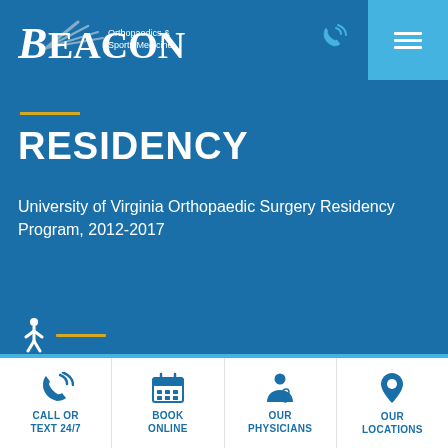[Figure (logo): Beacon Orthopaedics & Sports Medicine logo in white on dark blue background]
RESIDENCY
University of Virginia Orthopaedic Surgery Residency Program, 2012-2017
[Figure (infographic): Bottom navigation bar with four icons: Call or Text 24/7 (phone icon), Book Online (calendar icon), Our Physicians (doctor icon), Our Locations (map pin icon)]